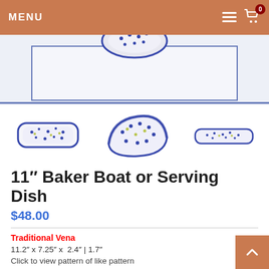MENU
[Figure (photo): Main product image area showing a ceramic baker boat dish with blue and white dotted pattern, partially visible from above]
[Figure (photo): Three thumbnail images of the baker boat dish: left thumbnail shows top-down view, center shows angled view with blue floral pattern, right shows side view]
11" Baker Boat or Serving Dish
$48.00
Traditional Vena
11.2″ x 7.25″ x  2.4″ | 1.7″
Click to view pattern of like pattern